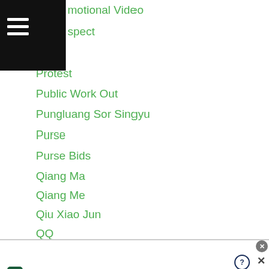hamburger menu / navigation header bar
motional Video
spect
Protest
Public Work Out
Pungluang Sor Singyu
Purse
Purse Bids
Qiang Ma
Qiang Me
Qiu Xiao Jun
QQ
Quaise Khademi
Quaye Peter
Qudratillo Abduqaxorov
Rafael-concepcion
infolinks  Lohchab
[Figure (screenshot): Advertisement banner for Tally app: 'Fast credit card payoff' with Download Now button]